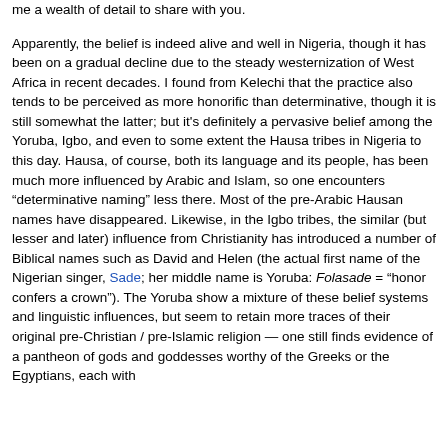me a wealth of detail to share with you.
Apparently, the belief is indeed alive and well in Nigeria, though it has been on a gradual decline due to the steady westernization of West Africa in recent decades. I found from Kelechi that the practice also tends to be perceived as more honorific than determinative, though it is still somewhat the latter; but it's definitely a pervasive belief among the Yoruba, Igbo, and even to some extent the Hausa tribes in Nigeria to this day. Hausa, of course, both its language and its people, has been much more influenced by Arabic and Islam, so one encounters "determinative naming" less there. Most of the pre-Arabic Hausan names have disappeared. Likewise, in the Igbo tribes, the similar (but lesser and later) influence from Christianity has introduced a number of Biblical names such as David and Helen (the actual first name of the Nigerian singer, Sade; her middle name is Yoruba: Folasade = "honor confers a crown"). The Yoruba show a mixture of these belief systems and linguistic influences, but seem to retain more traces of their original pre-Christian / pre-Islamic religion — one still finds evidence of a pantheon of gods and goddesses worthy of the Greeks or the Egyptians, each with